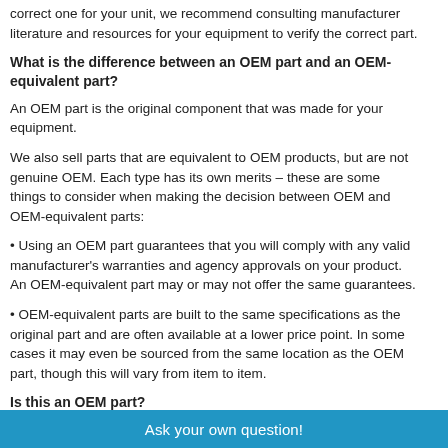correct one for your unit, we recommend consulting manufacturer literature and resources for your equipment to verify the correct part.
What is the difference between an OEM part and an OEM-equivalent part?
An OEM part is the original component that was made for your equipment.
We also sell parts that are equivalent to OEM products, but are not genuine OEM. Each type has its own merits – these are some things to consider when making the decision between OEM and OEM-equivalent parts:
• Using an OEM part guarantees that you will comply with any valid manufacturer's warranties and agency approvals on your product. An OEM-equivalent part may or may not offer the same guarantees.
• OEM-equivalent parts are built to the same specifications as the original part and are often available at a lower price point. In some cases it may even be sourced from the same location as the OEM part, though this will vary from item to item.
Is this an OEM part?
Yes. This is an OEM (Original Equipment Manufacturer) part.
Ask your own question!